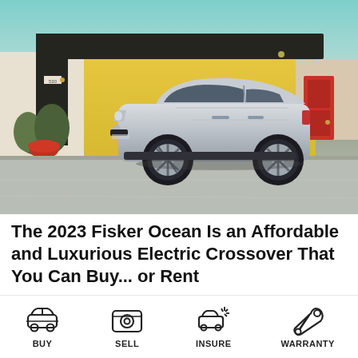[Figure (photo): A silver 2023 Fisker Ocean electric SUV parked in the driveway of a mid-century modern home with yellow wall, dark overhanging roof, and red door. Teal sky background.]
The 2023 Fisker Ocean Is an Affordable and Luxurious Electric Crossover That You Can Buy... or Rent
[Figure (infographic): Four navigation icons: BUY (car icon), SELL (money/camera icon), INSURE (shield/car icon), WARRANTY (wrench icon)]